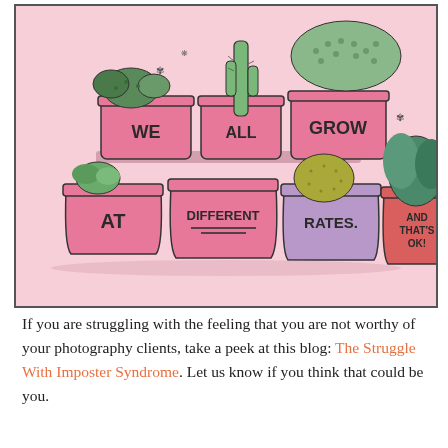[Figure (illustration): Illustration of pink and purple plant pots with succulents, cacti, and other plants. Text on pots reads: 'WE ALL GROW AT DIFFERENT RATES. AND THAT'S OK!' on a pink background.]
If you are struggling with the feeling that you are not worthy of your photography clients, take a peek at this blog: The Struggle With Imposter Syndrome. Let us know if you think that could be you.